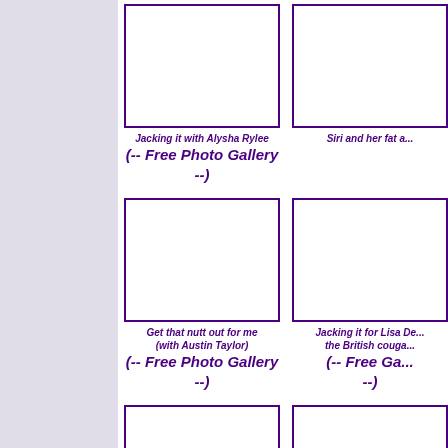[Figure (photo): Empty placeholder thumbnail box top-left]
Jacking it with Alysha Rylee (-- Free Photo Gallery --)
[Figure (photo): Empty placeholder thumbnail box top-right]
Siri and her fat a...
[Figure (photo): Empty placeholder thumbnail box middle-left]
Get that nutt out for me (with Austin Taylor) (-- Free Photo Gallery --)
[Figure (photo): Empty placeholder thumbnail box middle-right]
Jacking it for Lisa De... the British couga... (-- Free Ga... --)
[Figure (photo): Empty placeholder thumbnail box bottom-left]
Better than my sister (with...
[Figure (photo): Empty placeholder thumbnail box bottom-right]
Better than my sister...